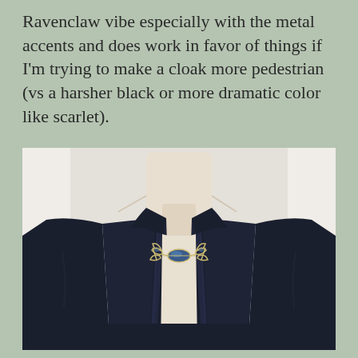Ravenclaw vibe especially with the metal accents and does work in favor of things if I'm trying to make a cloak more pedestrian (vs a harsher black or more dramatic color like scarlet).
[Figure (photo): A dark navy blue cloak or cape displayed on a dress form/mannequin. The garment has a navy ribbon tie at the neck, fastened with a decorative floral/leaf metal brooch with blue accents. The background is white/light gray.]